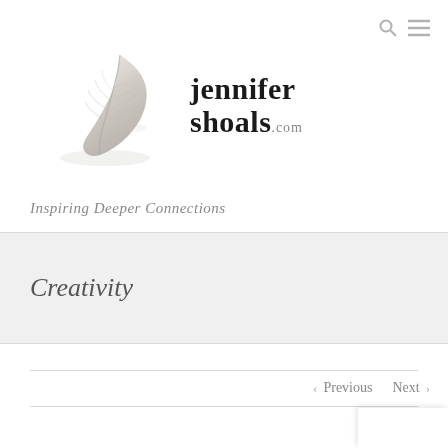[Figure (logo): Jennifer Shoals website logo with feather illustration and site name 'jennifer shoals.com']
Inspiring Deeper Connections
Creativity
< Previous   Next >